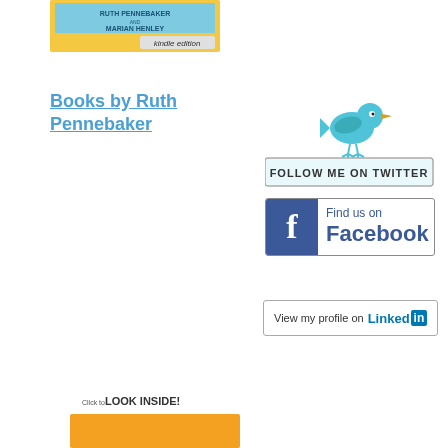[Figure (illustration): Book cover for a Ruth Pennebaker and Marian Henley book with 'kindle edition' label, partially cropped at top of page]
Books by Ruth Pennebaker
[Figure (logo): Follow me on Twitter badge with blue bird icon and teal button]
[Figure (logo): Find us on Facebook badge with blue Facebook icon]
[Figure (logo): View my profile on LinkedIn badge]
[Figure (illustration): Book cover with 'Click to LOOK INSIDE!' label, partially cropped at bottom of page]